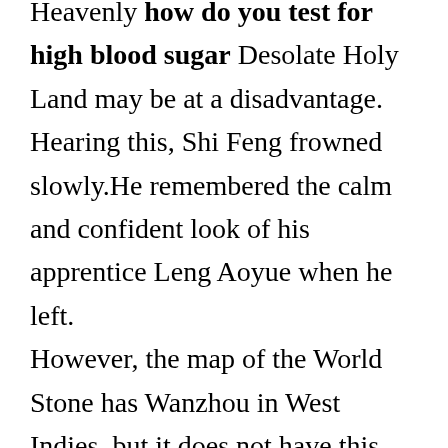Heavenly how do you test for high blood sugar Desolate Holy Land may be at a disadvantage. Hearing this, Shi Feng frowned slowly.He remembered the calm and confident look of his apprentice Leng Aoyue when he left. However, the map of the World Stone has Wanzhou in West Indies, but it does not have this great desert westward. Above this endless sea, the night completely retreated and entered the day.Today, the